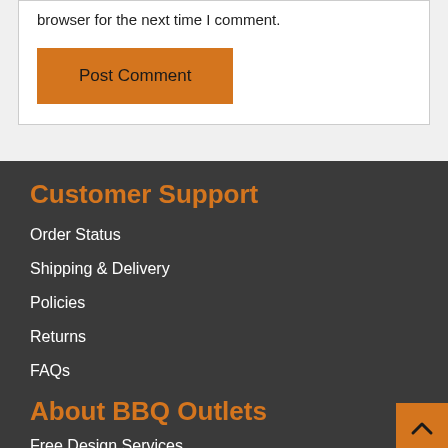browser for the next time I comment.
Post Comment
Customer Support
Order Status
Shipping & Delivery
Policies
Returns
FAQs
About BBQ Outlets
Free Design Services